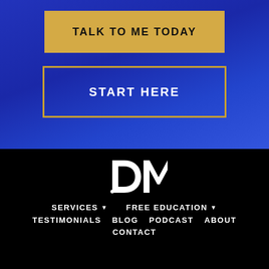TALK TO ME TODAY
START HERE
[Figure (logo): DM monogram logo in white on black background]
SERVICES ▾
FREE EDUCATION ▾
TESTIMONIALS
BLOG
PODCAST
ABOUT
CONTACT